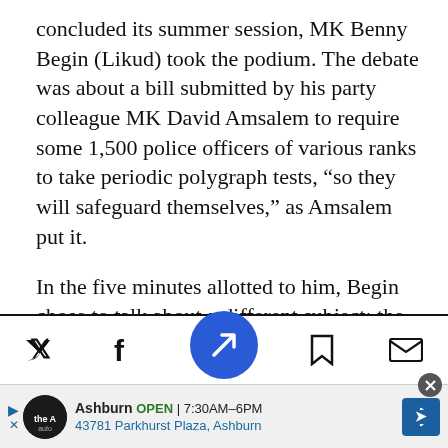concluded its summer session, MK Benny Begin (Likud) took the podium. The debate was about a bill submitted by his party colleague MK David Amsalem to require some 1,500 police officers of various ranks to take periodic polygraph tests, “so they will safeguard themselves,” as Amsalem put it.
In the five minutes allotted to him, Begin chose to talk about a different subject: the controversial nation-state bill submitted by MK Avi Dichter (Likud). Let’s put it this way:
[Figure (other): Mobile share toolbar with Twitter, Facebook, center navigation (blue circle with arrow icon), bookmark, and mail icons. Below is an advertisement bar for 'The Auto' in Ashburn showing OPEN 7:30AM-6PM and address 43781 Parkhurst Plaza, Ashburn with a blue directional arrow.]